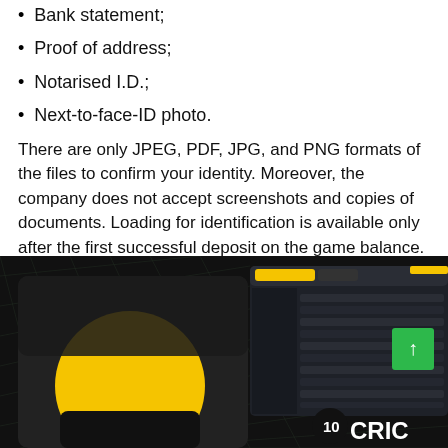Bank statement;
Proof of address;
Notarised I.D.;
Next-to-face-ID photo.
There are only JPEG, PDF, JPG, and PNG formats of the files to confirm your identity. Moreover, the company does not accept screenshots and copies of documents. Loading for identification is available only after the first successful deposit on the game balance.
[Figure (photo): A promotional image for 10CRIC online gaming platform showing a mobile device and a desktop browser interface with the 10CRIC logo visible, on a dark background.]